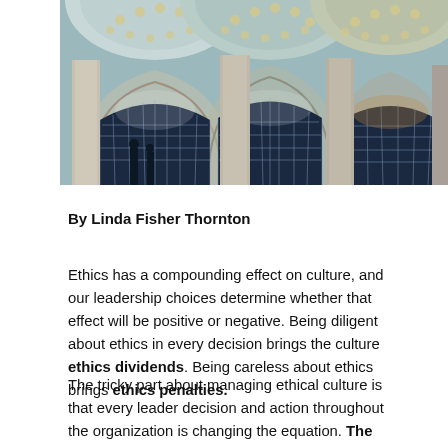[Figure (photo): Interior of a grand building with large arched windows featuring decorative lattice/grid patterns, ornate vaulted ceilings with circular decorations, columns, and dramatic lighting.]
By Linda Fisher Thornton
Ethics has a compounding effect on culture, and our leadership choices determine whether that effect will be positive or negative. Being diligent about ethics in every decision brings the culture ethics dividends. Being careless about ethics brings ethics penalties.
The tricky part about managing ethical culture is that every leader decision and action throughout the organization is changing the equation. The culture equation is changing in